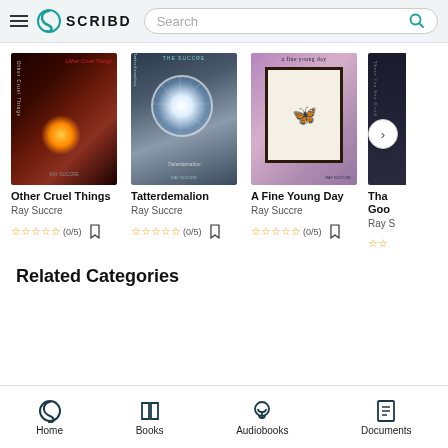SCRIBD — Search bar
[Figure (screenshot): Book cover: Other Cruel Things by Ray Succre — dark abstract cover with orange/red glow]
Other Cruel Things
Ray Succre
☆☆☆☆☆ (0/5)
[Figure (screenshot): Book cover: Tatterdemalion by Ray Succre — dark blue/grey cover with circular light design]
Tatterdemalion
Ray Succre
☆☆☆☆☆ (0/5)
[Figure (screenshot): Book cover: A Fine Young Day by Ray Succre — purple/mauve background with framed butterfly illustration]
A Fine Young Day
Ray Succre
☆☆☆☆☆ (0/5)
[Figure (screenshot): Partial 4th book cover — dark, partially visible]
Tha... Goo...
Ray S...
Related Categories
Home  Books  Audiobooks  Documents